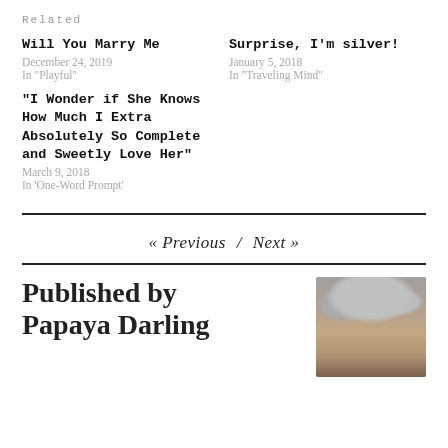Related
Will You Marry Me
December 24, 2019
In "Playful"
Surprise, I'm silver!
January 5, 2018
In "Traveling Mind"
“I Wonder if She Knows How Much I Extra Absolutely So Complete and Sweetly Love Her”
March 9, 2018
In "One-Word Prompt"
« Previous  /  Next »
Published by Papaya Darling
[Figure (photo): Author photo of Papaya Darling, a Black woman with silver/gray wavy hair, smiling]